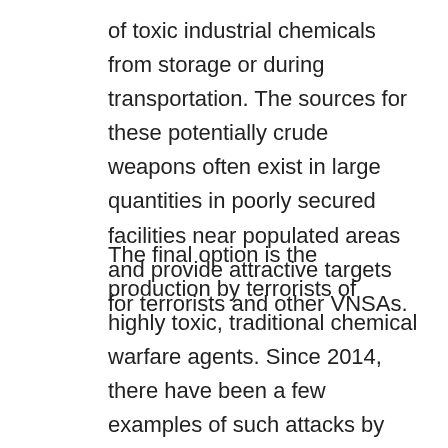of toxic industrial chemicals from storage or during transportation. The sources for these potentially crude weapons often exist in large quantities in poorly secured facilities near populated areas and provide attractive targets for terrorists and other VNSAs.
The final option is the production by terrorists of highly toxic, traditional chemical warfare agents. Since 2014, there have been a few examples of such attacks by ISIL using sulfur mustard agents against Kurdish fighters.15 Nerve agents, such as tabun, sarin, and VX, however, require a more advanced level of training to ensure safety during the manufacturing process and maximum